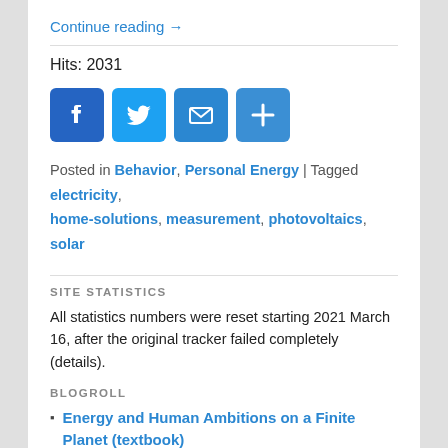Continue reading →
Hits: 2031
[Figure (infographic): Social sharing buttons: Facebook (blue), Twitter (light blue), Email (blue), Share/Plus (blue)]
Posted in Behavior, Personal Energy | Tagged electricity, home-solutions, measurement, photovoltaics, solar
SITE STATISTICS
All statistics numbers were reset starting 2021 March 16, after the original tracker failed completely (details).
BLOGROLL
Energy and Human Ambitions on a Finite Planet (textbook)
Murphy Professional Page
Resilience.org
Sustainability: w/o the hot air